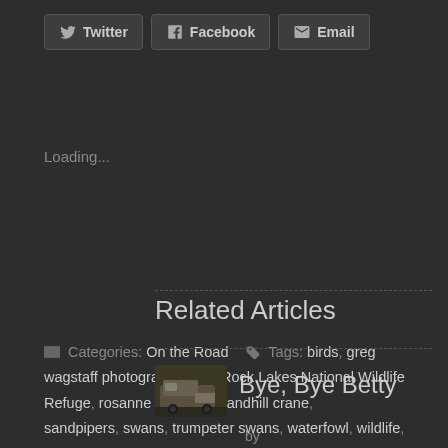Twitter
Facebook
Email
Loading...
Categories: On the Road   Tags: birds, greg wagstaff photography, Red Rock Lakes National Wildlife Refuge, rosanne wagstaff, Sandhill crane, sandpipers, swans, trumpeter swans, waterfowl, wildlife, yellowstone national park
Related Articles
[Figure (photo): Small thumbnail image of a related article about a vehicle or RV outdoors]
Bye, Bye Betty
by